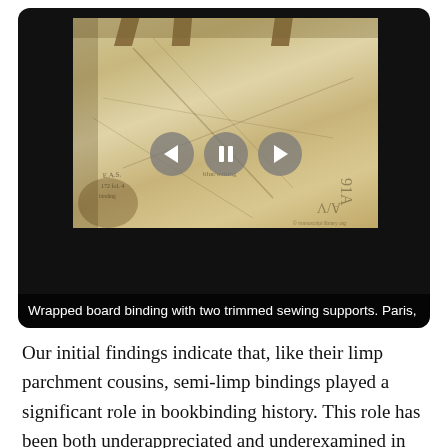[Figure (photo): A video player interface showing a photograph of a wrapped board parchment binding with two trimmed sewing supports, Paris. The image shows an aged, worn parchment cover. Below the photo are media controls (back, pause, forward). A caption bar reads: 'Wrapped board binding with two trimmed sewing supports. Paris,']
Wrapped board binding with two trimmed sewing supports. Paris,
Our initial findings indicate that, like their limp parchment cousins, semi-limp bindings played a significant role in bookbinding history. This role has been both underappreciated and underexamined in the scholarly